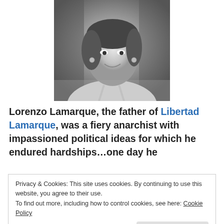[Figure (photo): Black and white photograph of Libertad Lamarque, a woman smiling, wearing earrings and a light dress, photographed from approximately waist up.]
Lorenzo Lamarque, the father of Libertad Lamarque, was a fiery anarchist with impassioned political ideas for which he endured hardships...one day he
Privacy & Cookies: This site uses cookies. By continuing to use this website, you agree to their use.
To find out more, including how to control cookies, see here: Cookie Policy
Close and accept